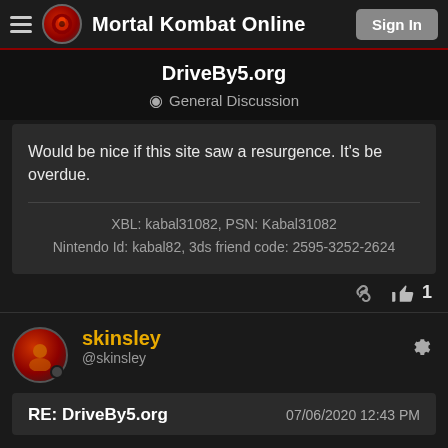Mortal Kombat Online | Sign In
DriveBy5.org
General Discussion
Would be nice if this site saw a resurgence. It's be overdue.
XBL: kabal31082, PSN: Kabal31082
Nintendo Id: kabal82, 3ds friend code: 2595-3252-2624
skinsley
@skinsley
RE: DriveBy5.org  07/06/2020 12:43 PM